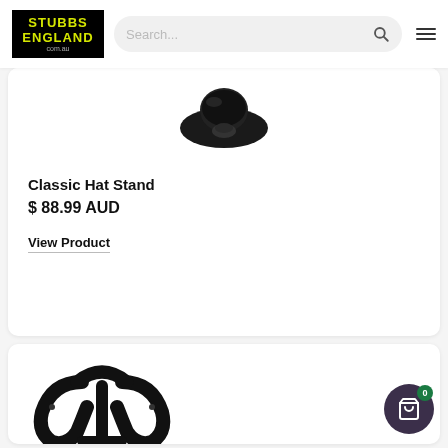[Figure (screenshot): Stubbs England website header with logo, search bar, and hamburger menu]
[Figure (photo): Classic Hat Stand product image - black hat stand shape viewed from above]
Classic Hat Stand
$ 88.99 AUD
View Product
[Figure (photo): Second product - black horseshoe-shaped product stand]